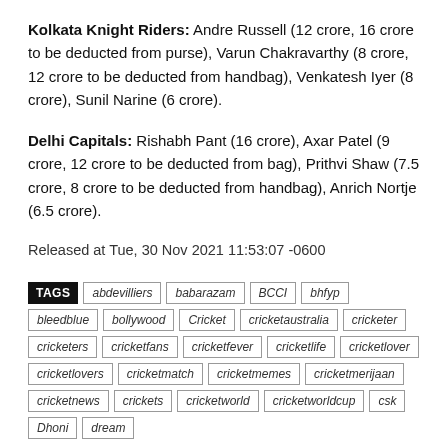Kolkata Knight Riders: Andre Russell (12 crore, 16 crore to be deducted from purse), Varun Chakravarthy (8 crore, 12 crore to be deducted from handbag), Venkatesh Iyer (8 crore), Sunil Narine (6 crore).
Delhi Capitals: Rishabh Pant (16 crore), Axar Patel (9 crore, 12 crore to be deducted from bag), Prithvi Shaw (7.5 crore, 8 crore to be deducted from handbag), Anrich Nortje (6.5 crore).
Released at Tue, 30 Nov 2021 11:53:07 -0600
TAGS: abdevilliers babarazam BCCI bhfyp bleedblue bollywood Cricket cricketaustralia cricketer cricketers cricketfans cricketfever cricketlife cricketlover cricketlovers cricketmatch cricketmemes cricketmerijaan cricketnews crickets cricketworld cricketworldcup csk Dhoni dream